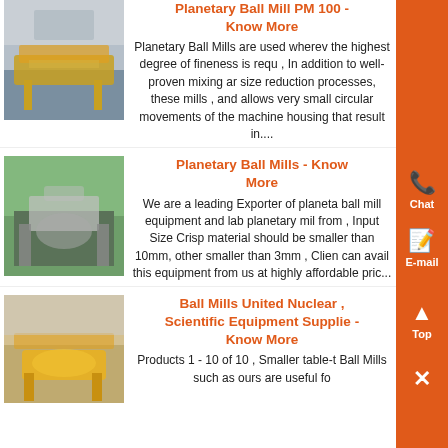[Figure (photo): Industrial vibrating screen or conveyor, orange/yellow metal frame, inside warehouse]
Planetary Ball Mill PM 100 - Know More
Planetary Ball Mills are used wherever the highest degree of fineness is required , In addition to well-proven mixing and size reduction processes, these mills , and allows very small circular movements of the machine housing that result in....
[Figure (photo): Industrial equipment with green structure and metal framework, planetary ball mill machinery]
Planetary Ball Mills - Know More
We are a leading Exporter of planetary ball mill equipment and lab planetary mil from , Input Size Crisp material should be smaller than 10mm, other smaller than 3mm , Clien can avail this equipment from us at highly affordable pric...
[Figure (photo): Yellow industrial ball mill equipment on floor, heavy machinery]
Ball Mills United Nuclear , Scientific Equipment Supplie - Know More
Products 1 - 10 of 10 , Smaller table-t Ball Mills such as ours are useful fo